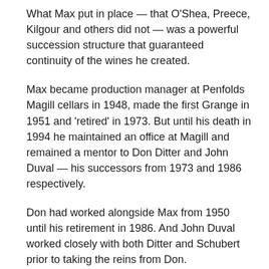What Max put in place — that O'Shea, Preece, Kilgour and others did not — was a powerful succession structure that guaranteed continuity of the wines he created.
Max became production manager at Penfolds Magill cellars in 1948, made the first Grange in 1951 and 'retired' in 1973. But until his death in 1994 he maintained an office at Magill and remained a mentor to Don Ditter and John Duval — his successors from 1973 and 1986 respectively.
Don had worked alongside Max from 1950 until his retirement in 1986. And John Duval worked closely with both Ditter and Schubert prior to taking the reins from Don.
Fortunately the winemaking culture survived the abrupt departure of Duval in 2002 – a consequence of the disastrous Rosemount takeover – with the appointment of